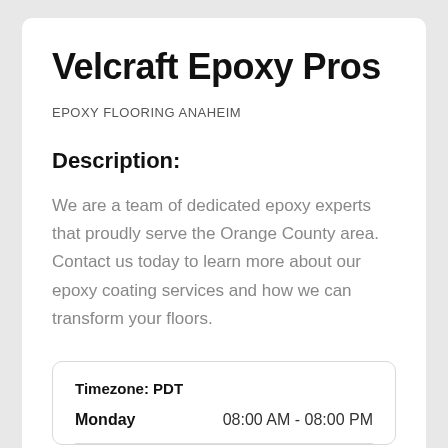Velcraft Epoxy Pros
EPOXY FLOORING ANAHEIM
Description:
We are a team of dedicated epoxy experts that proudly serve the Orange County area. Contact us today to learn more about our epoxy coating services and how we can transform your floors.
|  |  |
| --- | --- |
| Timezone: PDT |  |
| Monday | 08:00 AM - 08:00 PM |